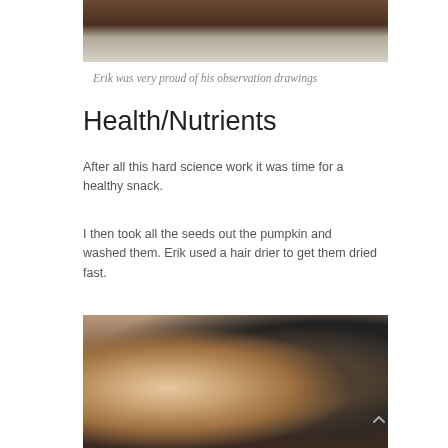[Figure (photo): Top portion of a photo showing a table surface with a white piece of paper, dark brown wooden surface visible]
Erik was very proud of his observation drawings
Health/Nutrients
After all this hard science work it was time for a healthy snack.
I then took all the seeds out the pumpkin and washed them. Erik used a hair drier to get them dried fast.
[Figure (photo): A young child with light hair smiling, in a kitchen, holding a dark blue object, with kitchen appliances visible in background]